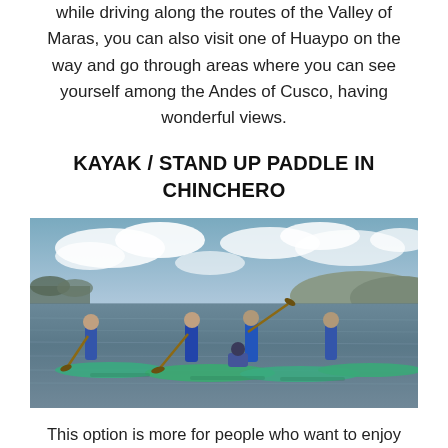enjoy a temperate climate with wonderful landscapes while driving along the routes of the Valley of Maras, you can also visit one of Huaypo on the way and go through areas where you can see yourself among the Andes of Cusco, having wonderful views.
KAYAK / STAND UP PADDLE IN CHINCHERO
[Figure (photo): Group of people standing on stand-up paddleboards on a calm lagoon with blue sky and clouds in the background. The paddleboarders are wearing blue jackets and wetsuits. One person is seated on a board in the center.]
This option is more for people who want to enjoy the peace and tranquility offered by the waters of the Piuray lagoon, it is a safe activity as well as the equipment